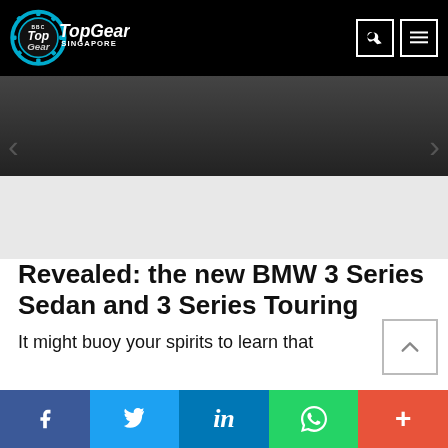BBC Top Gear Singapore
[Figure (screenshot): Carousel image area with dark gradient top bar and light grey bottom, with left and right navigation arrows]
Revealed: the new BMW 3 Series Sedan and 3 Series Touring
It might buoy your spirits to learn that